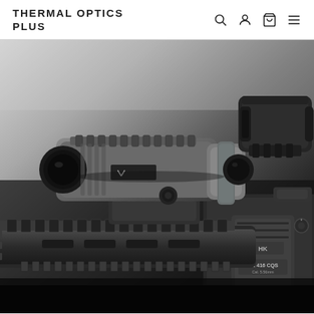THERMAL OPTICS PLUS
[Figure (photo): Close-up photograph of a tactical rifle (HK 416 CQS, cal. 5.56mm) with a mounted optic/magnifier device on a Picatinny rail system. The optic appears to be a thermal or night vision magnifier in dark grey/black finish. A red dot sight is visible in the upper right. The rifle receiver shows the HK 416 CQS markings.]